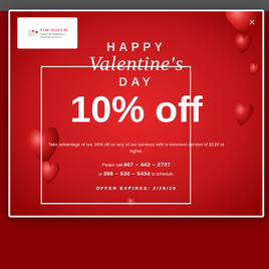[Figure (illustration): Valentine's Day promotional popup for Top Notch Carpet & Upholstery Cleaning Services on a dark red background. Features red heart balloons, company logo, and promotional text offering 10% off services.]
HAPPY Valentine's DAY
10% off
Take advantage of our 10% off on any of our services with a minimum service of $120 or higher.
Please call 407-442-2737 or 386-530-5434 to schedule.
OFFER EXPIRES: 2/28/20